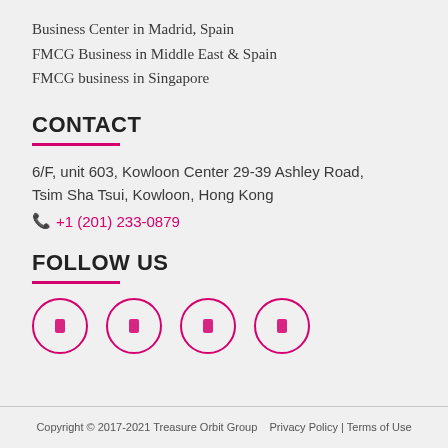Business Center in Madrid, Spain
FMCG Business in Middle East & Spain
FMCG business in Singapore
CONTACT
6/F, unit 603, Kowloon Center 29-39 Ashley Road, Tsim Sha Tsui, Kowloon, Hong Kong
+1 (201) 233-0879
FOLLOW US
[Figure (other): Four social media icon circles in pink/magenta outline style]
Copyright © 2017-2021 Treasure Orbit Group   Privacy Policy | Terms of Use